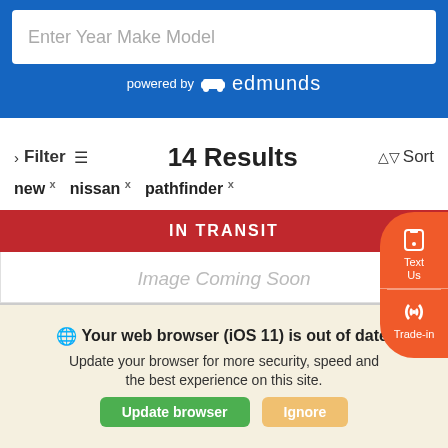[Figure (screenshot): Blue header bar with search input field labeled 'Enter Year Make Model' and 'powered by edmunds' branding below]
Enter Year Make Model
powered by edmunds
> Filter  14 Results  Sort
new × nissan × pathfinder ×
IN TRANSIT
Image Coming Soon
Text Us
Trade-in
Your web browser (iOS 11) is out of date. Update your browser for more security, speed and the best experience on this site.
Update browser
Ignore